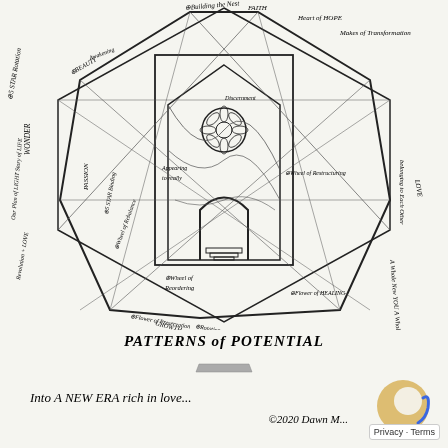[Figure (illustration): Hand-drawn geometric diagram with a central hexagonal/octagonal shape containing nested geometric forms, a circular mandala at center, an arch/doorway shape, and radiating lines. Labels include: Building the Nest, FAITH, Heart of HOPE, Makes of Transformation, 5 STAR Rotation, BEAUTY, Wheel of Rebalance, Anchoring to reality, Discernment, Gathering to Each Other, LOVE, belonging, Wheel of Restructuring, Flower of HEALING, Wheel of Reordering, Flower of Preservation, GROWTH, PASSION, Outer Plan of Light, Story of LIFE, Revolution + LOVE, WONDER, and others. All in hand-drawn pen style.]
PATTERNS of POTENTIAL
Into A NEW ERA rich in love...
© 2020 Dawn M...